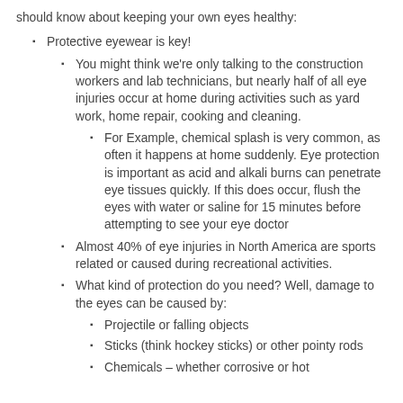should know about keeping your own eyes healthy:
Protective eyewear is key!
You might think we're only talking to the construction workers and lab technicians, but nearly half of all eye injuries occur at home during activities such as yard work, home repair, cooking and cleaning.
For Example, chemical splash is very common, as often it happens at home suddenly. Eye protection is important as acid and alkali burns can penetrate eye tissues quickly. If this does occur, flush the eyes with water or saline for 15 minutes before attempting to see your eye doctor
Almost 40% of eye injuries in North America are sports related or caused during recreational activities.
What kind of protection do you need? Well, damage to the eyes can be caused by:
Projectile or falling objects
Sticks (think hockey sticks) or other pointy rods
Chemicals – whether corrosive or hot